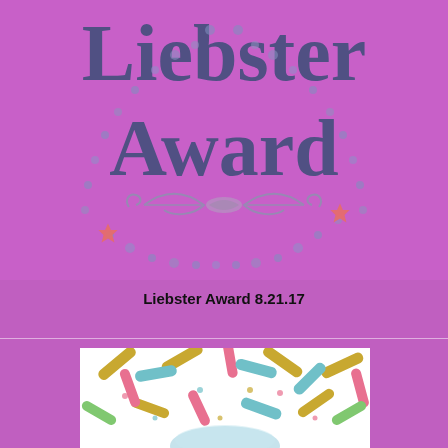[Figure (illustration): Liebster Award decorative graphic on purple background with beaded necklace garland, stars, scrollwork ornament, and large text reading Liebster Award in dark purple/slate color]
Liebster Award 8.21.17
[Figure (illustration): Colorful sprinkles/confetti pattern on white background, partially visible at bottom of page]